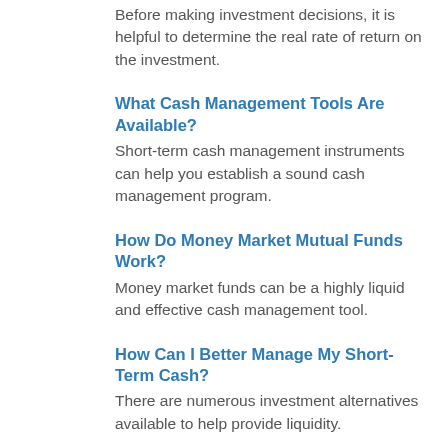Before making investment decisions, it is helpful to determine the real rate of return on the investment.
What Cash Management Tools Are Available?
Short-term cash management instruments can help you establish a sound cash management program.
How Do Money Market Mutual Funds Work?
Money market funds can be a highly liquid and effective cash management tool.
How Can I Better Manage My Short-Term Cash?
There are numerous investment alternatives available to help provide liquidity.
What Are Some Smart Ways to Refinance?
Here are some smart ways to refinance your home.
What About Financial Aid for College?
It's important to understand the options, such as